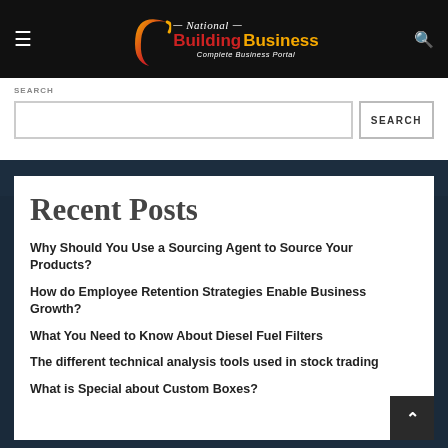National Building Business — Complete Business Portal
SEARCH
Recent Posts
Why Should You Use a Sourcing Agent to Source Your Products?
How do Employee Retention Strategies Enable Business Growth?
What You Need to Know About Diesel Fuel Filters
The different technical analysis tools used in stock trading
What is Special about Custom Boxes?